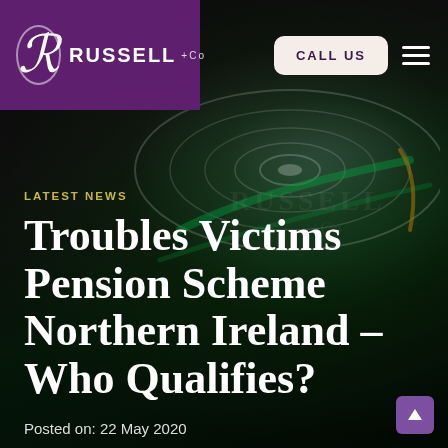[Figure (logo): Russell + Co law firm logo with purple background, decorative R in circle and RUSSELL+Co text]
CALL US
LATEST NEWS
Troubles Victims Pension Scheme Northern Ireland – Who Qualifies?
Posted on: 22 May 2020